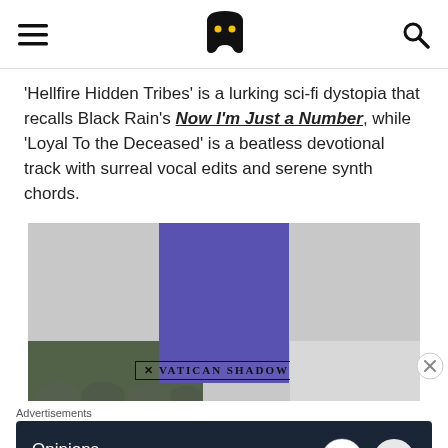Mixmag header navigation bar
'Hellfire Hidden Tribes' is a lurking sci-fi dystopia that recalls Black Rain's Now I'm Just a Number, while 'Loyal To the Deceased' is a beatless devotional track with surreal vocal edits and serene synth chords.
[Figure (photo): Album artwork or promotional image for Vatican Shadow showing a purple rectangle with the text 'VATICAN SHADOW' and decorative cross arrows, with figures in patterned clothing visible below.]
Advertisements
[Figure (infographic): Advertisement banner with dark navy background reading 'Opinions. We all have them!' with WordPress and another logo on the right.]